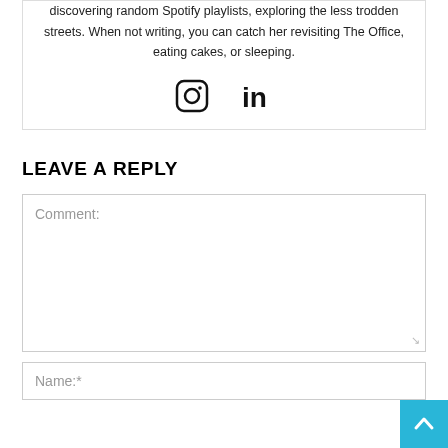discovering random Spotify playlists, exploring the less trodden streets. When not writing, you can catch her revisiting The Office, eating cakes, or sleeping.
[Figure (illustration): Instagram and LinkedIn social media icons]
LEAVE A REPLY
Comment:
Name:*